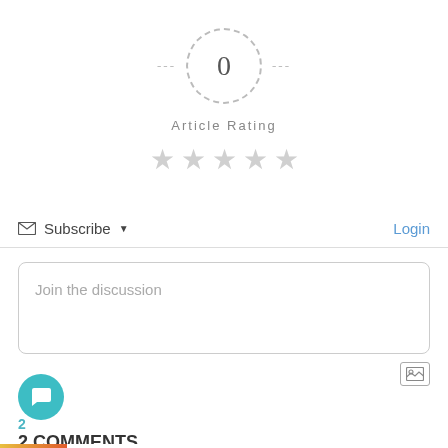[Figure (other): Article rating widget with dashed circle showing 0 rating, dashes on either side, 'Article Rating' label, and 5 empty grey stars below]
Subscribe ▼
Login
Join the discussion
2 COMMENTS
Oldest ▼